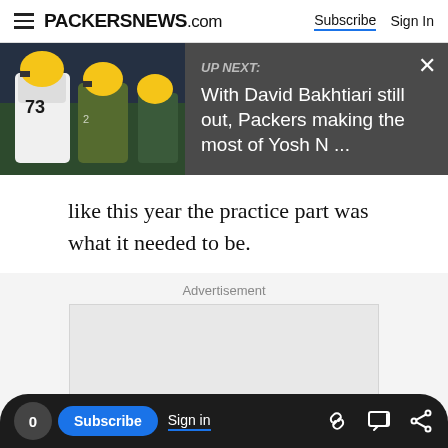PACKERSNEWS.com | Subscribe | Sign In
[Figure (screenshot): UP NEXT banner showing Green Bay Packers players with text: 'With David Bakhtiari still out, Packers making the most of Yosh N ...']
like this year the practice part was what it needed to be.
Advertisement
[Figure (other): Empty advertisement placeholder box]
0 | Subscribe | Sign in